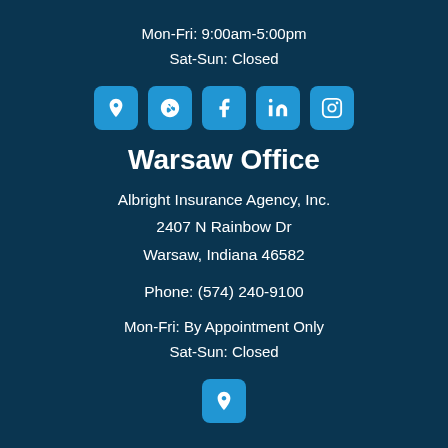Mon-Fri: 9:00am-5:00pm
Sat-Sun: Closed
[Figure (infographic): Row of 5 social media / directory icon buttons: map pin, Yelp, Facebook, LinkedIn, Instagram]
Warsaw Office
Albright Insurance Agency, Inc.
2407 N Rainbow Dr
Warsaw, Indiana 46582
Phone: (574) 240-9100
Mon-Fri: By Appointment Only
Sat-Sun: Closed
[Figure (infographic): Single map pin icon button at the bottom center]